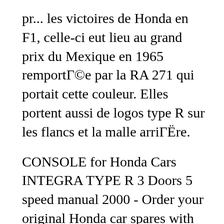pr... les victoires de Honda en F1, celle-ci eut lieu au grand prix du Mexique en 1965 remportée par la RA 271 qui portait cette couleur. Elles portent aussi de logos type R sur les flancs et la malle arrière.
CONSOLE for Honda Cars INTEGRA TYPE R 3 Doors 5 speed manual 2000 - Order your original Honda car spares with our part diagrams Search by model or part number Honda parts with manufacturer warranty - вЂ¦ L'Integra a tout pour lui : luxe, style, confort haut de gamme et performances de pointe. Le nouvel Integra vous offre l'adrГ©naline d'une moto puissante avec le confort et le cГґtГ© pratique d'un scooter haut de gamme. Vous serez sГ©duit par son agilitГ© et sa sportivitГ©, mais aussi par sa faible